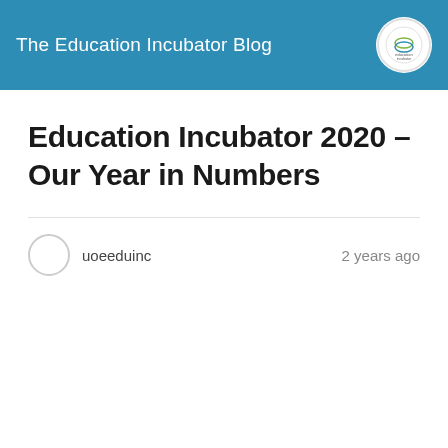The Education Incubator Blog
Education Incubator 2020 – Our Year in Numbers
uoeeduinc    2 years ago